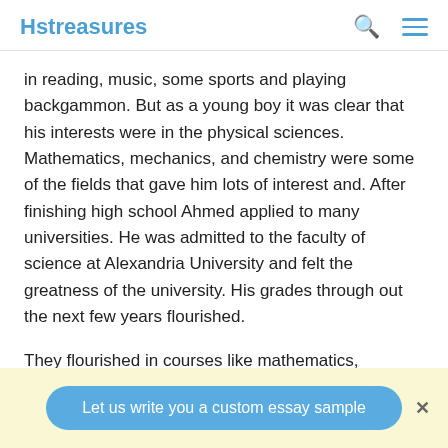Hstreasures
in reading, music, some sports and playing backgammon. But as a young boy it was clear that his interests were in the physical sciences. Mathematics, mechanics, and chemistry were some of the fields that gave him lots of interest and. After finishing high school Ahmed applied to many universities. He was admitted to the faculty of science at Alexandria University and felt the greatness of the university. His grades through out the next few years flourished.
They flourished in courses like mathematics, physics, chemistry, and geology. His grades were either excellent or
Let us write you a custom essay sample